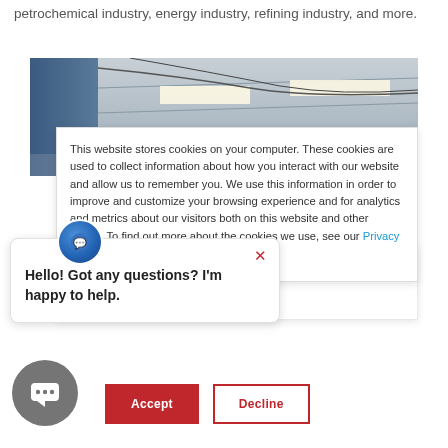petrochemical industry, energy industry, refining industry, and more.
[Figure (photo): Industrial ceiling with lighting fixtures and cables, slight blue tint on left side]
This website stores cookies on your computer. These cookies are used to collect information about how you interact with our website and allow us to remember you. We use this information in order to improve and customize your browsing experience and for analytics and metrics about our visitors both on this website and other media. To find out more about the cookies we use, see our Privacy Policy
won't be tracked ngle cookie will be ber your preference
Hello! Got any questions? I'm happy to help.
Accept
Decline